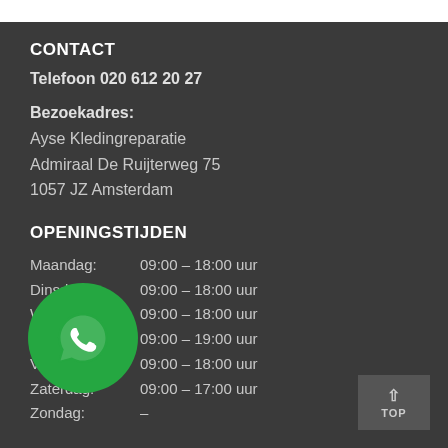CONTACT
Telefoon 020 612 20 27
Bezoekadres:
Ayse Kledingreparatie
Admiraal De Ruijterweg 75
1057 JZ Amsterdam
OPENINGSTIJDEN
Maandag:    09:00 – 18:00 uur
Dinsdag:    09:00 – 18:00 uur
Woensdag:   09:00 – 18:00 uur
Donderdag:  09:00 – 19:00 uur
Vrijdag:    09:00 – 18:00 uur
Zaterdag:   09:00 – 17:00 uur
Zondag:     –
[Figure (logo): WhatsApp green circle logo icon]